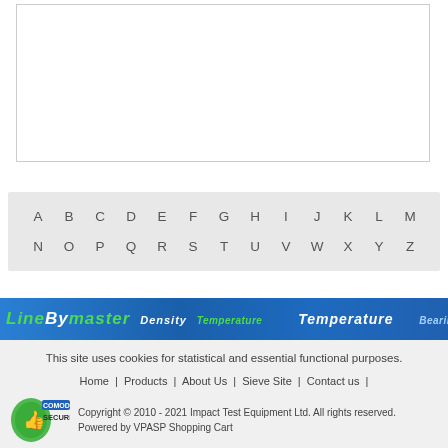[Figure (other): A white content area with a bordered rectangle (search/input box area)]
A B C D E F G H I J K L M N O P Q R S T U V W X Y Z
[Figure (infographic): Blue banner strip with green and white italic text: LineByMaster, Density, Temperature, Temperature, Bearing-Capacity]
This site uses cookies for statistical and essential functional purposes.
Home | Products | About Us | Sieve Site | Contact us | Search
Copyright © 2010 - 2021 Impact Test Equipment Ltd. All rights reserved. Powered by VPASP Shopping Cart
[Figure (logo): Comodo Secure logo — green circular badge with thumbs up icon]